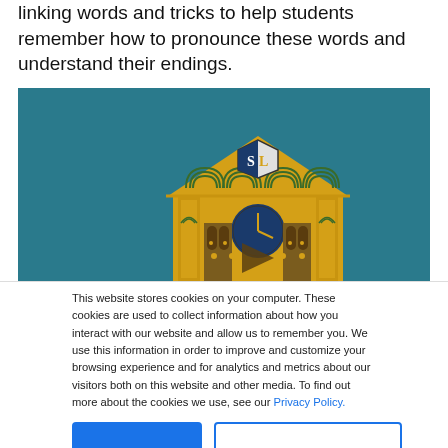linking words and tricks to help students remember how to pronounce these words and understand their endings.
[Figure (screenshot): Illustration of a golden school building with a clock, shield with S and L letters, and a play button overlay, on a teal/dark blue background. Appears to be a video thumbnail.]
This website stores cookies on your computer. These cookies are used to collect information about how you interact with our website and allow us to remember you. We use this information in order to improve and customize your browsing experience and for analytics and metrics about our visitors both on this website and other media. To find out more about the cookies we use, see our Privacy Policy.
Accept
Don't ask me again